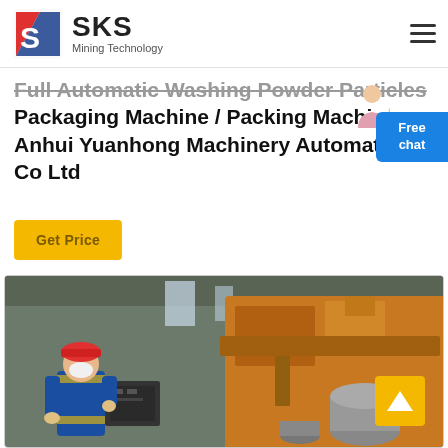SKS Mining Technology
Full Automatic Washing Powder Particles Packaging Machine / Packing Machine Anhui Yuanhong Machinery Automation Co Ltd
Get Price
[Figure (photo): Industrial factory scene with a worker in blue uniform and red hard hat operating heavy orange machinery equipment]
Free chat